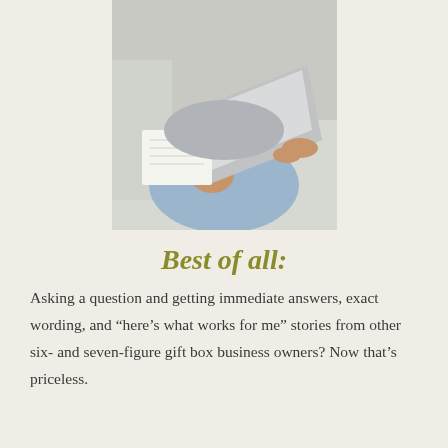[Figure (photo): Person sitting on a couch wearing ripped jeans, writing in a notebook and using a MacBook laptop]
Best of all:
Asking a question and getting immediate answers, exact wording, and “here’s what works for me” stories from other six- and seven-figure gift box business owners? Now that’s priceless.